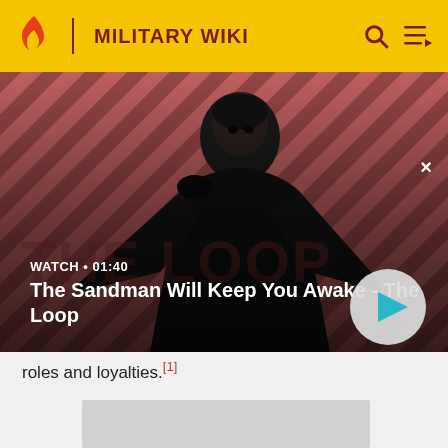MILITARY WIKI
[Figure (screenshot): Video thumbnail showing a man in dark clothing with a raven on his shoulder, against a red diagonal-striped background. Text overlay reads WATCH • 01:40 and title 'The Sandman Will Keep You Awake - The Loop'. A play button circle is on the right.]
roles and loyalties.[1]
[Figure (photo): Partially visible image placeholder with grey background]